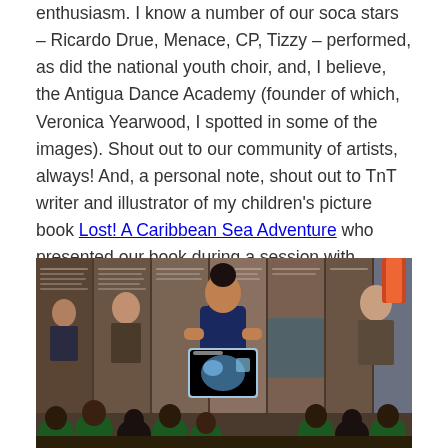enthusiasm. I know a number of our soca stars – Ricardo Drue, Menace, CP, Tizzy – performed, as did the national youth choir, and, I believe, the Antigua Dance Academy (founder of which, Veronica Yearwood, I spotted in some of the images). Shout out to our community of artists, always! And, a personal note, shout out to TnT writer and illustrator of my children's picture book Lost! A Caribbean Sea Adventure who presented our book during a session with children and shared on social media
[Figure (photo): A woman in a dark blue shirt holds up a colorful picture book to a group of children wearing green shirts, in front of a backdrop of illustrated panels.]